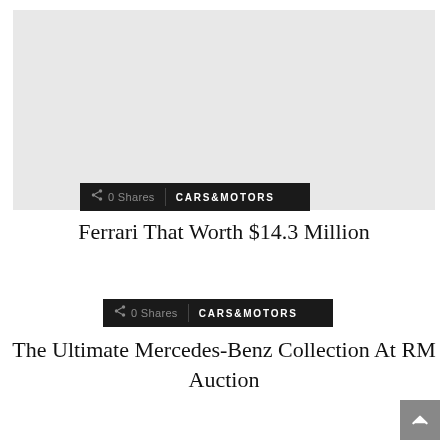[Figure (photo): Light gray placeholder image rectangle at top of page]
0 Shares   CARS&MOTORS
Ferrari That Worth $14.3 Million
0 Shares   CARS&MOTORS
The Ultimate Mercedes-Benz Collection At RM Auction